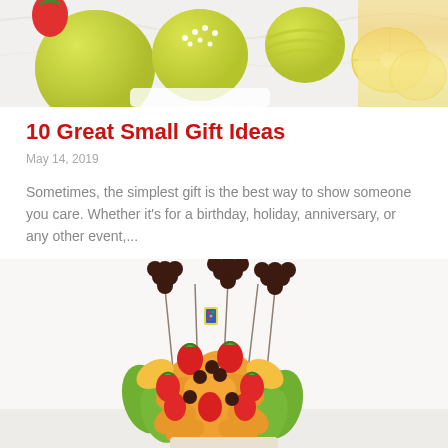[Figure (photo): Photo of yellow-green cake pops and lemon slices on a marble surface]
10 Great Small Gift Ideas
May 14, 2019
Sometimes, the simplest gift is the best way to show someone you care. Whether it's for a birthday, holiday, anniversary, or any other event,...
[Figure (photo): Photo of a colorful fruit bouquet arrangement with melon flowers, strawberries, grapes, and kiwi on skewers with a birthday pick]